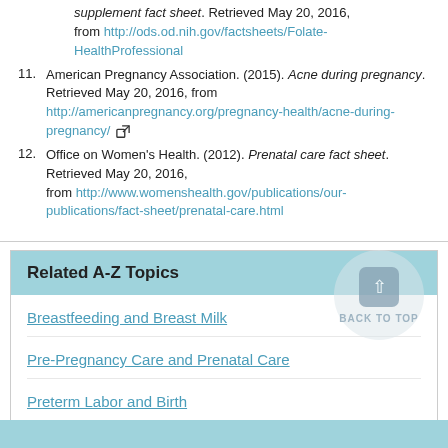supplement fact sheet. Retrieved May 20, 2016, from http://ods.od.nih.gov/factsheets/Folate-HealthProfessional
11. American Pregnancy Association. (2015). Acne during pregnancy. Retrieved May 20, 2016, from http://americanpregnancy.org/pregnancy-health/acne-during-pregnancy/
12. Office on Women's Health. (2012). Prenatal care fact sheet. Retrieved May 20, 2016, from http://www.womenshealth.gov/publications/our-publications/fact-sheet/prenatal-care.html
Related A-Z Topics
Breastfeeding and Breast Milk
Pre-Pregnancy Care and Prenatal Care
Preterm Labor and Birth